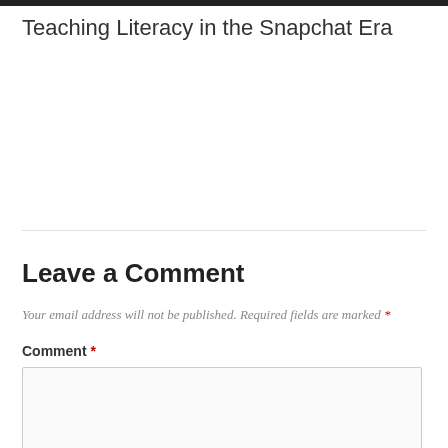Teaching Literacy in the Snapchat Era
Leave a Comment
Your email address will not be published. Required fields are marked *
Comment *